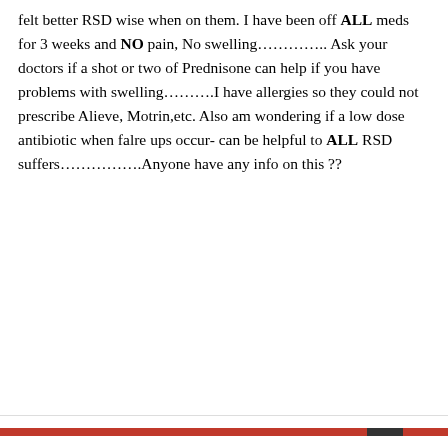felt better RSD wise when on them. I have been off ALL meds for 3 weeks and NO pain, No swelling………….. Ask your doctors if a shot or two of Prednisone can help if you have problems with swelling……….I have allergies so they could not prescribe Alieve, Motrin,etc. Also am wondering if a low dose antibiotic when falre ups occur- can be helpful to ALL RSD suffers…………….Anyone have any info on this ??
Privacy & Cookies: This site uses cookies. By continuing to use this website, you agree to their use.
To find out more, including how to control cookies, see here: Cookie Policy